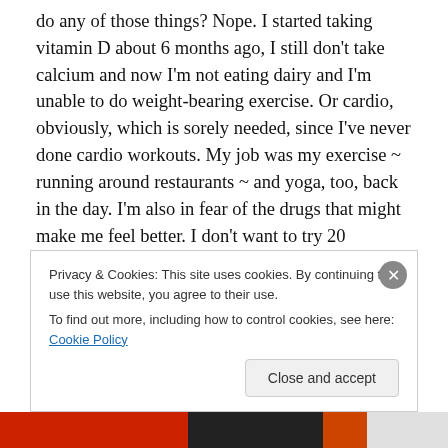do any of those things? Nope. I started taking vitamin D about 6 months ago, I still don't take calcium and now I'm not eating dairy and I'm unable to do weight-bearing exercise. Or cardio, obviously, which is sorely needed, since I've never done cardio workouts. My job was my exercise ~ running around restaurants ~ and yoga, too, back in the day. I'm also in fear of the drugs that might make me feel better. I don't want to try 20 antidepressants to find the right one, I don't want to put on 30 lbs from Lyrica or gabapentin, I don't want to feel groggy and crazy from sleeping pills, I don't want to deal with weaning off
Privacy & Cookies: This site uses cookies. By continuing to use this website, you agree to their use.
To find out more, including how to control cookies, see here: Cookie Policy